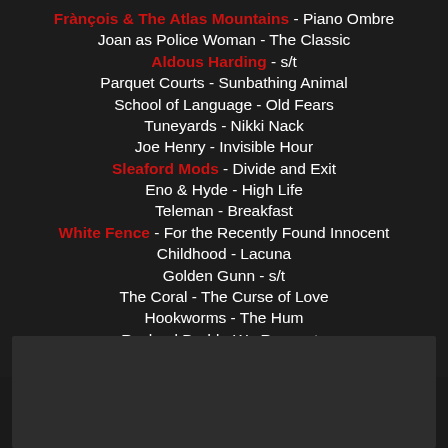Frànçois & The Atlas Mountains - Piano Ombre
Joan as Police Woman - The Classic
Aldous Harding - s/t
Parquet Courts - Sunbathing Animal
School of Language - Old Fears
Tuneyards - Nikki Nack
Joe Henry - Invisible Hour
Sleaford Mods - Divide and Exit
Eno & Hyde - High Life
Teleman - Breakfast
White Fence - For the Recently Found Innocent
Childhood - Lacuna
Golden Gunn - s/t
The Coral - The Curse of Love
Hookworms - The Hum
Rachael Dadd - We Resonate
Tweedy - Sukierae
[Figure (other): Dark grey rectangular box at the bottom of the page]